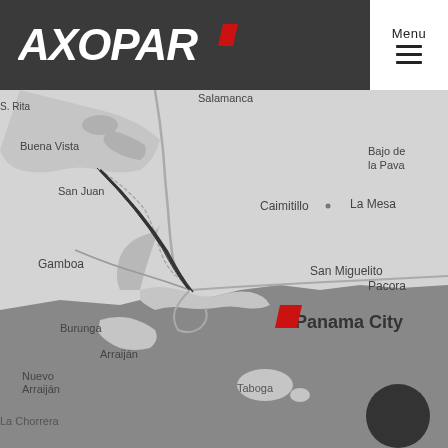[Figure (logo): Axopar brand logo in white italic text with red parallelogram accent mark, on dark grey background]
Menu
[Figure (map): Greyscale map of Panama City area showing San Juan, Caimitillo, La Mesa, Gamboa, San Miguelito, Pacora, Panama City, Burunga, Arraijen, Nuevo Arraijen, La Chorrera, Taboga. A red parallelogram location pin is placed on Panama City. The sea/ocean area is shown in dark grey.]